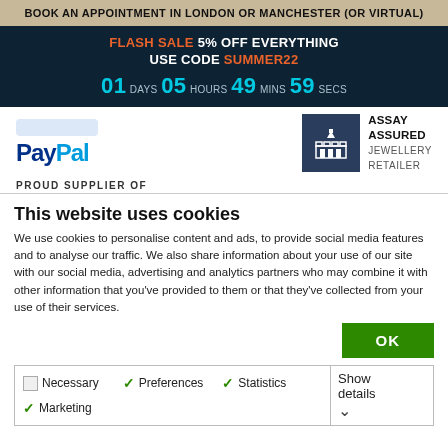BOOK AN APPOINTMENT IN LONDON OR MANCHESTER (OR VIRTUAL)
FLASH SALE 5% OFF EVERYTHING
USE CODE SUMMER22
01 DAYS 05 HOURS 49 MINS 59 SECS
[Figure (logo): PayPal logo]
[Figure (logo): Assay Assured Jewellery Retailer badge with castle icon]
PROUD SUPPLIER OF
This website uses cookies
We use cookies to personalise content and ads, to provide social media features and to analyse our traffic. We also share information about your use of our site with our social media, advertising and analytics partners who may combine it with other information that you've provided to them or that they've collected from your use of their services.
OK
Necessary  Preferences  Statistics  Marketing  Show details